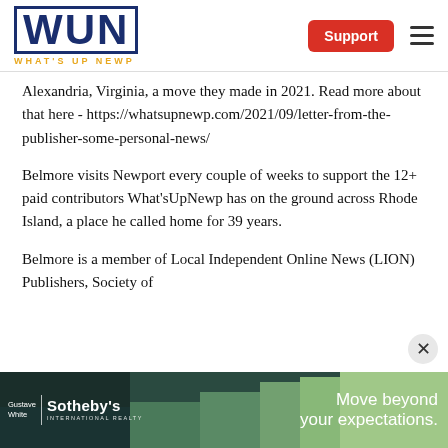WUN WHAT'S UP NEWP | Support
Alexandria, Virginia, a move they made in 2021. Read more about that here - https://whatsupnewp.com/2021/09/letter-from-the-publisher-some-personal-news/
Belmore visits Newport every couple of weeks to support the 12+ paid contributors What'sUpNewp has on the ground across Rhode Island, a place he called home for 39 years.
Belmore is a member of Local Independent Online News (LION) Publishers, Society of
[Figure (photo): Gustave White Sotheby's International Realty advertisement banner showing a coastal scene with the tagline 'Move beyond your expectations.']